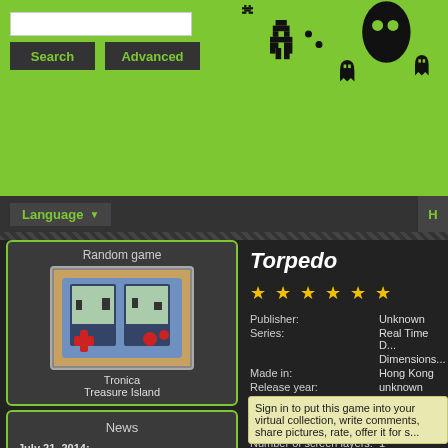[Figure (screenshot): Website header with green background, search box, Search and Advanced buttons, and pixel art game character silhouettes (Mario, Space Invader, Pac-Man ghost, penguin, ghost)]
Language ▼   H
Random game
[Figure (photo): Tronica Treasure Island handheld game image]
Tronica
Treasure Island
News
July 21, 2014:
new feature - 'spare' state
March 14, 2011:
new features - facebook/google account
March 8, 2011:
new design
July 10, 2010:
live again
Latest Comments
Torpedo
★ ★ ★ ★ ★ ★
| Field | Value |
| --- | --- |
| Publisher: | Unknown |
| Series: | Real Time D... |
|  | Dimensions... |
| Made in: | Hong Kong |
| Release year: | unknown |
| Model: | 727/3 |
| Screen type: | LCD |
| Number of screens: | 1 |
| Number of screen layers: | 1 |
| Touchscreen: | ⊘ |
| Color: | ⊘ |
| Battery type: | 1 x LR44 or... |
| Shape: | rectangular |
| Number of players: | 1 player |
| Case colors: | ■ (red) |
Sign in to put this game into your virtual collection, write comments, share pictures, rate, offer it for s...